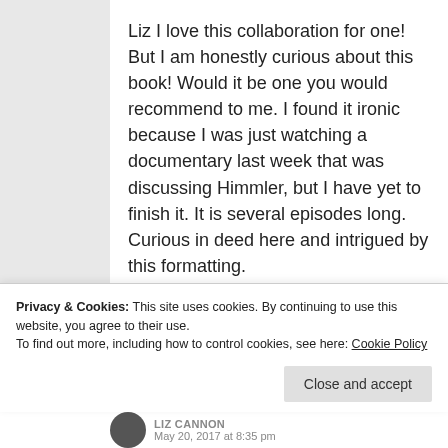Liz I love this collaboration for one! But I am honestly curious about this book! Would it be one you would recommend to me. I found it ironic because I was just watching a documentary last week that was discussing Himmler, but I have yet to finish it. It is several episodes long. Curious in deed here and intrigued by this formatting.
Liked by 1 person
Privacy & Cookies: This site uses cookies. By continuing to use this website, you agree to their use.
To find out more, including how to control cookies, see here: Cookie Policy
Close and accept
LIZ CANNON
May 20, 2017 at 8:35 pm